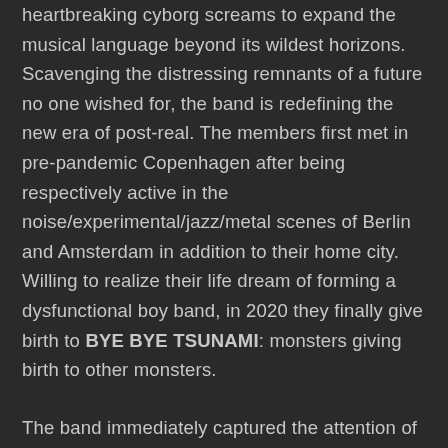heartbreaking cyborg screams to expand the musical language beyond its wildest horizons. Scavenging the distressing remnants of a future no one wished for, the band is redefining the new era of post-real. The members first met in pre-pandemic Copenhagen after being respectively active in the noise/experimental/jazz/metal scenes of Berlin and Amsterdam in addition to their home city. Willing to realize their life dream of forming a dysfunctional boy band, in 2020 they finally give birth to BYE BYE TSUNAMI: monsters giving birth to other monsters.
The band immediately captured the attention of the public with its unique sound imprint, their compositions based on the Flaubosax: a unique self-built futuristic wind instrument conceived by Colocci's twisted mind. Generating new soundscapes with the use of a personal asymmetrical tonal